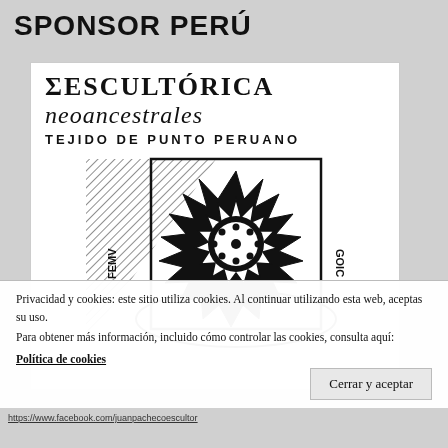SPONSOR PERÚ
[Figure (logo): Logo of Escultórica Neoancestrales - Tejido de Punto Peruano, showing stylized star/sun geometric emblem with text. Left side shows diagonal hatching. Text reads FEMV and GOIC on sides.]
Privacidad y cookies: este sitio utiliza cookies. Al continuar utilizando esta web, aceptas su uso.
Para obtener más información, incluido cómo controlar las cookies, consulta aquí:
Política de cookies
Cerrar y aceptar
https://www.facebook.com/juanpachecoescultor